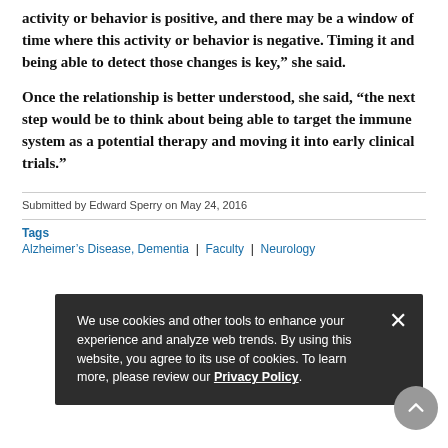There may be a window of time where this activity or behavior is positive, and there may be a window of time where this activity or behavior is negative. Timing it and being able to detect those changes is key,” she said.
Once the relationship is better understood, she said, “the next step would be to think about being able to target the immune system as a potential therapy and moving it into early clinical trials.”
Submitted by Edward Sperry on May 24, 2016
Tags
Alzheimer’s Disease, Dementia | Faculty | Neurology
We use cookies and other tools to enhance your experience and analyze web trends. By using this website, you agree to its use of cookies. To learn more, please review our Privacy Policy.